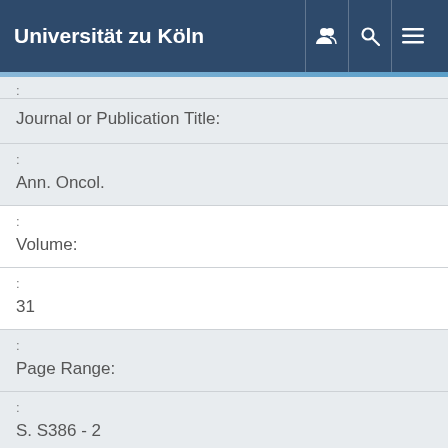Universität zu Köln
:
| Journal or Publication Title: |  |
| : |  |
| Ann. Oncol. |  |
| : |  |
| Volume: |  |
| : |  |
| 31 |  |
| : |  |
| Page Range: |  |
| : |  |
| S. S386 - 2 |  |
| : |  |